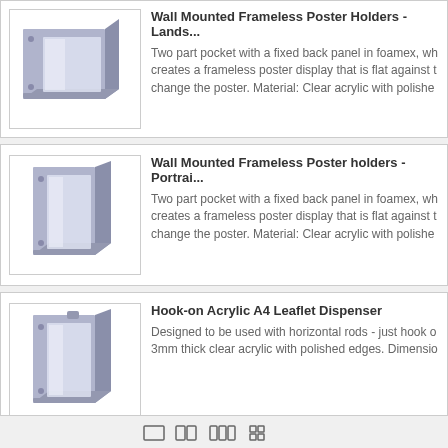[Figure (illustration): Wall mounted frameless poster holder landscape orientation product illustration - acrylic holder with foamex back panel shown at an angle]
Wall Mounted Frameless Poster Holders - Lands...
Two part pocket with a fixed back panel in foamex, wh... creates a frameless poster display that is flat against t... change the poster. Material: Clear acrylic with polishe...
[Figure (illustration): Wall mounted frameless poster holder portrait orientation product illustration - acrylic holder with foamex back panel shown at an angle]
Wall Mounted Frameless Poster holders - Portrai...
Two part pocket with a fixed back panel in foamex, wh... creates a frameless poster display that is flat against t... change the poster. Material: Clear acrylic with polishe...
[Figure (illustration): Hook-on acrylic A4 leaflet dispenser product illustration - clear acrylic dispenser shown at an angle]
Hook-on Acrylic A4 Leaflet Dispenser
Designed to be used with horizontal rods - just hook o... 3mm thick clear acrylic with polished edges. Dimensio...
pagination icons